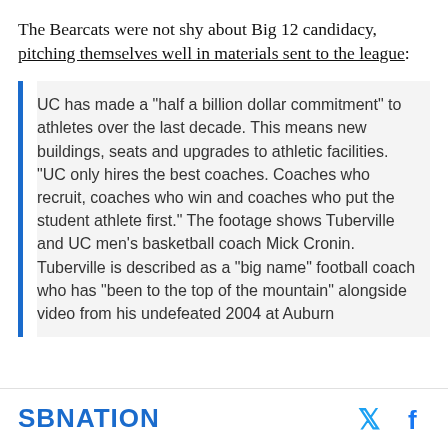The Bearcats were not shy about Big 12 candidacy, pitching themselves well in materials sent to the league:
UC has made a "half a billion dollar commitment" to athletes over the last decade. This means new buildings, seats and upgrades to athletic facilities.
"UC only hires the best coaches. Coaches who recruit, coaches who win and coaches who put the student athlete first." The footage shows Tuberville and UC men's basketball coach Mick Cronin. Tuberville is described as a "big name" football coach who has "been to the top of the mountain" alongside video from his undefeated 2004 at Auburn
SBNATION